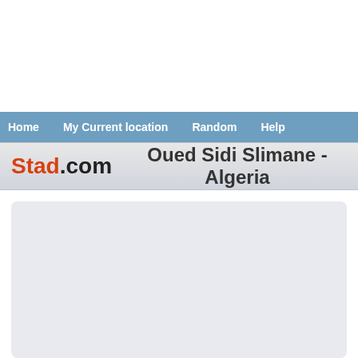Home  My Current location  Random  Help
Stad.com  Oued Sidi Slimane - Algeria
[Figure (other): Empty light blue-gray content panel with rounded corners]